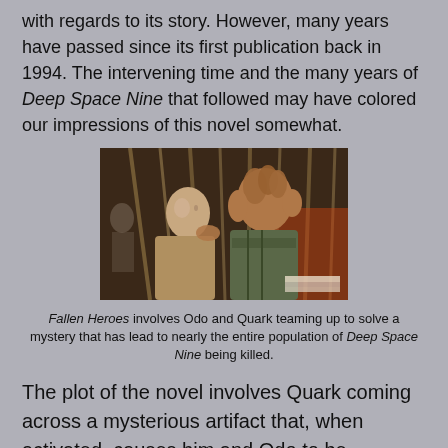with regards to its story. However, many years have passed since its first publication back in 1994. The intervening time and the many years of Deep Space Nine that followed may have colored our impressions of this novel somewhat.
[Figure (photo): A scene from Deep Space Nine showing two characters — one human-looking (Odo) and one alien with a ridged head (Quark) — in what appears to be Quark's bar.]
Fallen Heroes involves Odo and Quark teaming up to solve a mystery that has lead to nearly the entire population of Deep Space Nine being killed.
The plot of the novel involves Quark coming across a mysterious artifact that, when activated, causes him and Odo to be transported three days forward in time. They discover